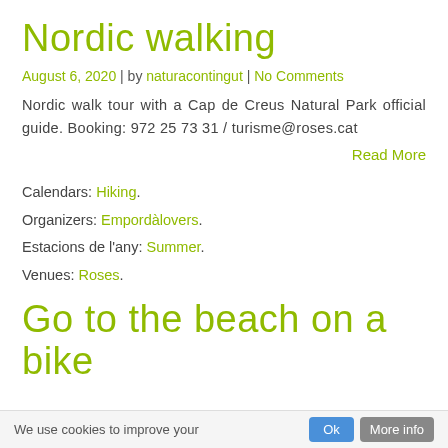Nordic walking
August 6, 2020 | by naturacontingut | No Comments
Nordic walk tour with a Cap de Creus Natural Park official guide. Booking: 972 25 73 31 / turisme@roses.cat
Read More
Calendars: Hiking.
Organizers: Empordàlovers.
Estacions de l'any: Summer.
Venues: Roses.
Go to the beach on a bike
We use cookies to improve your